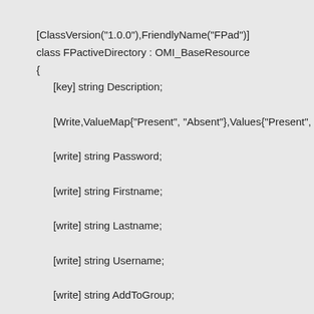[ClassVersion("1.0.0"),FriendlyName("FPad")]
class FPactiveDirectory : OMI_BaseResource
{
[key] string Description;
[Write,ValueMap{"Present", "Absent"},Values{"Present", "Absen
[write] string Password;
[write] string Firstname;
[write] string Lastname;
[write] string Username;
[write] string AddToGroup;
[write] boolean PasswordNeverExpires;
};
Why not just create a quick DSC configuration: